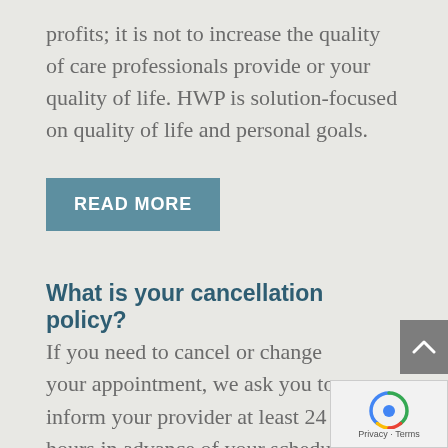profits; it is not to increase the quality of care professionals provide or your quality of life. HWP is solution-focused on quality of life and personal goals.
READ MORE
What is your cancellation policy?
If you need to cancel or change your appointment, we ask you to inform your provider at least 24 hours in advance of your scheduled session start time. Your full session fee will be charged for missed appointments and cancellations received less than 24 hours